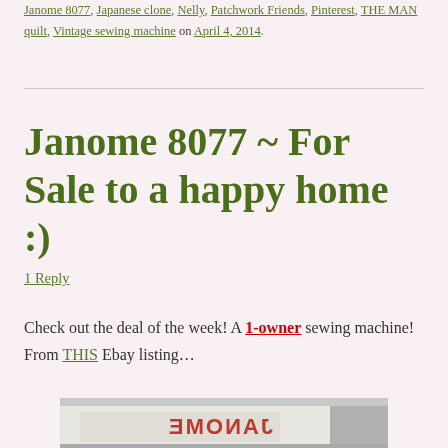Janome 8077, Japanese clone, Nelly, Patchwork Friends, Pinterest, THE MAN quilt, Vintage sewing machine on April 4, 2014.
Janome 8077 ~ For Sale to a happy home :)
1 Reply
Check out the deal of the week! A 1-owner sewing machine! From THIS Ebay listing...
[Figure (photo): Photo of a Janome sewing machine box, white box with red JANOME branding text visible, partially cropped]